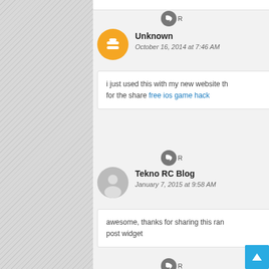[Figure (screenshot): Comment section of a blog with social sharing widgets (Like, Tweet, Share) on the left sidebar and three comments: Unknown (Oct 16 2014), Tekno RC Blog (Jan 7 2015), Adil Khan (Feb 13 2015)]
Unknown
October 16, 2014 at 7:46 AM
i just used this with my new website th for the share free ios game hack
Tekno RC Blog
January 7, 2015 at 9:58 AM
awesome, thanks for sharing this ran post widget
Adil Khan
February 13, 2015 at 1:57 AM